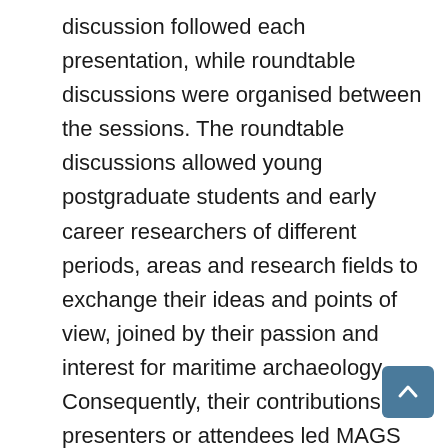discussion followed each presentation, while roundtable discussions were organised between the sessions. The roundtable discussions allowed young postgraduate students and early career researchers of different periods, areas and research fields to exchange their ideas and points of view, joined by their passion and interest for maritime archaeology. Consequently, their contributions as presenters or attendees led MAGS 2019 to become a significant opportunity for growth and exchange, and we thank them for that.
The support of other academic and non-academic bodies was also essential to the success of the conference. Workshops by the Nautical Archaeology Society (Mark Beattie-Edwards), the International Journal of Nautical